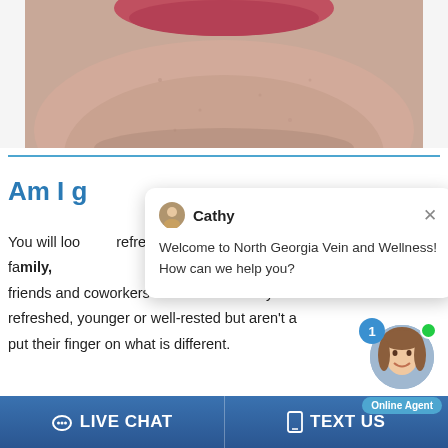[Figure (photo): Close-up photo of a person's lower face/chin and neck area showing skin, used on a medical vein/wellness website]
Am I g...
You will loo... refreshed. Most people report that their family, friends and coworkers comment that they lo... refreshed, younger or well-rested but aren't a... put their finger on what is different.
[Figure (screenshot): Live chat popup widget with avatar of Cathy, close button, and message: Welcome to North Georgia Vein and Wellness! How can we help you?]
[Figure (photo): Online agent photo (smiling woman) with green dot and notification badge showing 1, and Online Agent label]
LIVE CHAT
TEXT US